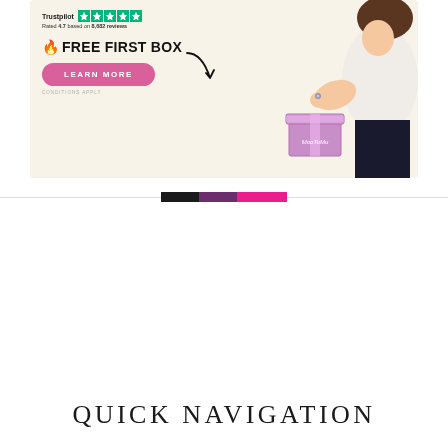[Figure (illustration): Advertisement banner for MooToMu subscription box. Features Trustpilot rating (4.7 based on 8,682 reviews), text '🔥 FREE FIRST BOX', a pink 'LEARN MORE' button, 'CONDITIONS APPLY' text, a pink gift box, and an illustrated woman with hands shown.]
[Figure (infographic): Horizontal color bar divider consisting of three color segments: dark/black, purple, and hot pink, flanked by thin gray lines on each side.]
QUICK NAVIGATION